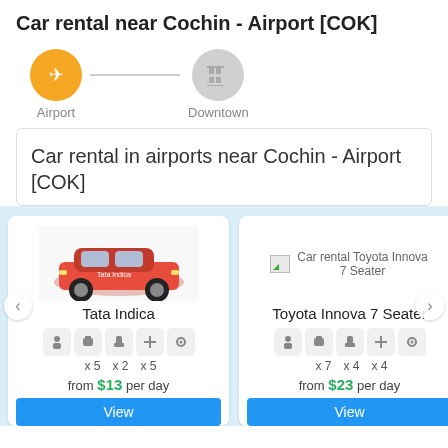Car rental near Cochin - Airport [COK]
[Figure (infographic): Airport tab (active, orange) and Downtown tab (inactive, grey) navigation icons with connecting line]
Car rental in airports near Cochin - Airport [COK]
[Figure (photo): Red Tata Indica car photograph]
Tata Indica
x 5  x 2  x 5
from $13 per day
[Figure (illustration): Broken image placeholder for Car rental Toyota Innova 7 Seater]
Toyota Innova 7 Seater
x 7  x 4  x 4
from $23 per day